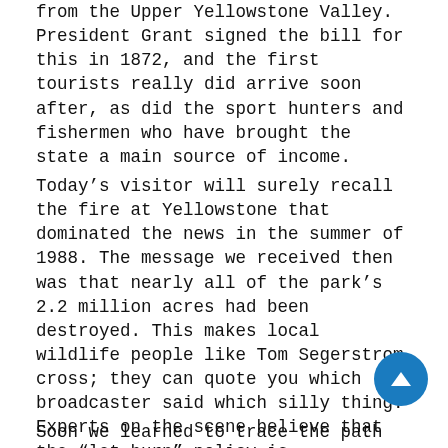from the Upper Yellowstone Valley. President Grant signed the bill for this in 1872, and the first tourists really did arrive soon after, as did the sport hunters and fishermen who have brought the state a main source of income.
Today's visitor will surely recall the fire at Yellowstone that dominated the news in the summer of 1988. The message we received then was that nearly all of the park's 2.2 million acres had been destroyed. This makes local wildlife people like Tom Segerstrom cross; they can quote you which broadcaster said which silly thing. Experts on the scene believe that the “let burn” policy is appropriate, as part of nature’s grand scheme. There hadn’t been a great fire in Yellowstone in possibly two hundred years. It was long overdue, and the diversity of vegetation that Segerstrom believes is necessary was being lost to an encroaching pine forest. Now, after the fire, the graceful aspen is getting room to breathe, the lodgepole pine regenerating, and wildflowers blanket the forest flo
Soon we learned to trace the path the flames—in some